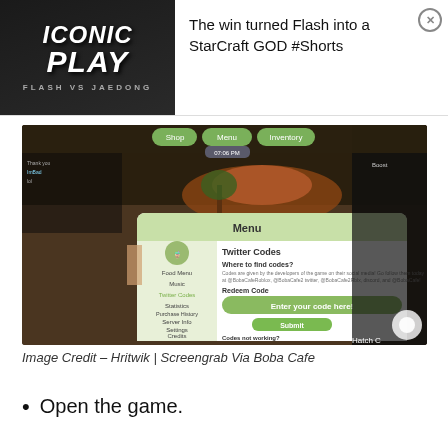[Figure (screenshot): Ad banner showing StarCraft video thumbnail with text 'ICONIC PLAY - FLASH VS JAEDONG' and title 'The win turned Flash into a StarCraft GOD #Shorts' with a close button]
[Figure (screenshot): Screengrab from Roblox Boba Cafe game showing a Menu dialog with Twitter Codes section, 'Enter your code here!' input field, and Submit button. Menu items visible: Food Menu, Music, Twitter Codes, Statistics, Purchase History, Server Info, Settings, Credits.]
Image Credit – Hritwik | Screengrab Via Boba Cafe
Open the game.